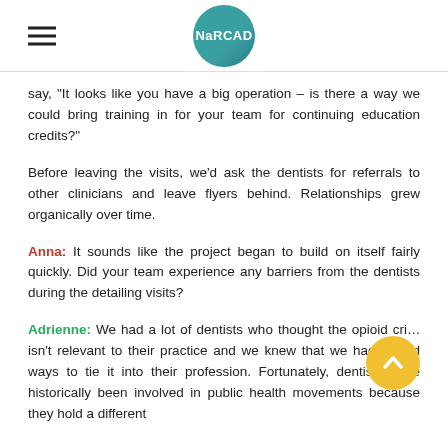NaRCAD
say, "It looks like you have a big operation – is there a way we could bring training in for your team for continuing education credits?"
Before leaving the visits, we'd ask the dentists for referrals to other clinicians and leave flyers behind. Relationships grew organically over time.
Anna: It sounds like the project began to build on itself fairly quickly. Did your team experience any barriers from the dentists during the detailing visits?
Adrienne: We had a lot of dentists who thought the opioid cri… isn't relevant to their practice and we knew that we had to find ways to tie it into their profession. Fortunately, dentists have historically been involved in public health movements because they hold a different